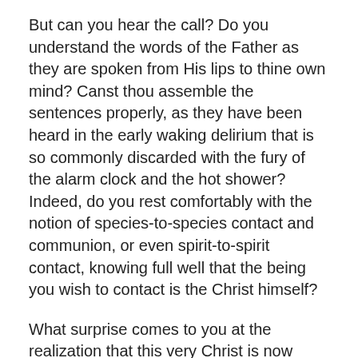But can you hear the call? Do you understand the words of the Father as they are spoken from His lips to thine own mind? Canst thou assemble the sentences properly, as they have been heard in the early waking delirium that is so commonly discarded with the fury of the alarm clock and the hot shower? Indeed, do you rest comfortably with the notion of species-to-species contact and communion, or even spirit-to-spirit contact, knowing full well that the being you wish to contact is the Christ himself?
What surprise comes to you at the realization that this very Christ is now designed to become literally your personal savior, but not in the sense that the fundamentalists would have it? Rather, it is that spark in you. It is you, and you are it; there is no separation. Therefore, you can call it what you will, but its effects are the same. Your own Divine spark is awakening within you, and thus the